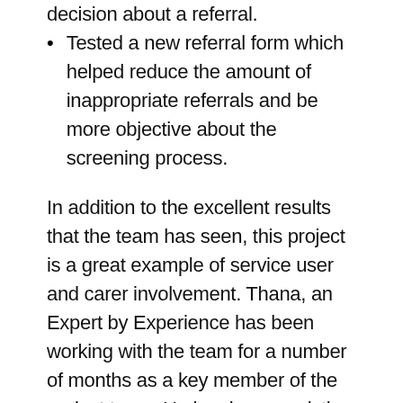Tested a new referral form which helped reduce the amount of inappropriate referrals and be more objective about the screening process.
In addition to the excellent results that the team has seen, this project is a great example of service user and carer involvement. Thana, an Expert by Experience has been working with the team for a number of months as a key member of the project team. He has been assisting the team in thinking about ways in which they can improve their waiting times but also ensure that the service provides a holistic approach to care. The team developed a leaflet which they believe would be shown as a DNA